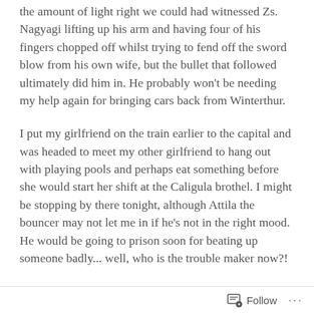the amount of light right we could had witnessed Zs. Nagyagi lifting up his arm and having four of his fingers chopped off whilst trying to fend off the sword blow from his own wife, but the bullet that followed ultimately did him in. He probably won't be needing my help again for bringing cars back from Winterthur.
I put my girlfriend on the train earlier to the capital and was headed to meet my other girlfriend to hang out with playing pools and perhaps eat something before she would start her shift at the Caligula brothel. I might be stopping by there tonight, although Attila the bouncer may not let me in if he's not in the right mood. He would be going to prison soon for beating up someone badly... well, who is the trouble maker now?!
Being a fugitive of the army for a no show and being
Follow ···